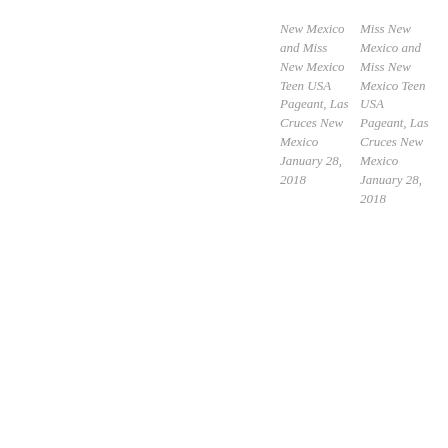New Mexico and Miss New Mexico Teen USA Pageant, Las Cruces New Mexico January 28, 2018
Miss New Mexico and Miss New Mexico Teen USA Pageant, Las Cruces New Mexico January 28, 2018